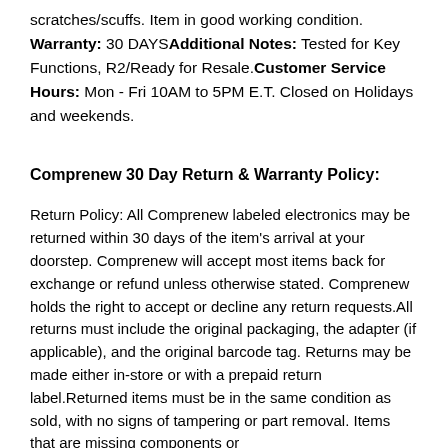scratches/scuffs. Item in good working condition. Warranty: 30 DAYSAdditional Notes: Tested for Key Functions, R2/Ready for Resale.Customer Service Hours: Mon - Fri 10AM to 5PM E.T. Closed on Holidays and weekends.
Comprenew 30 Day Return & Warranty Policy:
Return Policy: All Comprenew labeled electronics may be returned within 30 days of the item's arrival at your doorstep. Comprenew will accept most items back for exchange or refund unless otherwise stated. Comprenew holds the right to accept or decline any return requests.All returns must include the original packaging, the adapter (if applicable), and the original barcode tag. Returns may be made either in-store or with a prepaid return label.Returned items must be in the same condition as sold, with no signs of tampering or part removal. Items that are missing components or